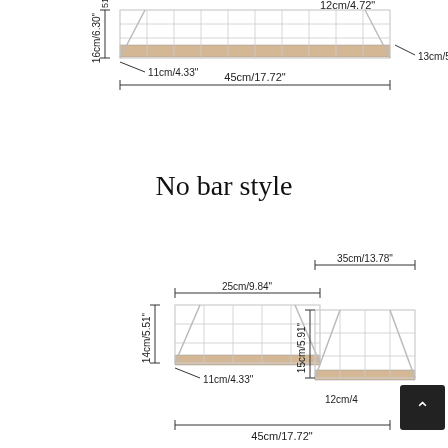[Figure (engineering-diagram): Technical diagram of wire grid wall shelves with dimensions. Top section shows a large shelf (45cm/17.72" wide, 16cm/6.30" tall, 13cm/5.12" depth, 11cm/4.33" bracket, 12cm/4.72" right side). Middle section has 'No bar style' label. Bottom section shows two smaller shelves side by side: left shelf (25cm/9.84" wide, 14cm/5.51" tall, 11cm/4.33" depth) and right shelf (35cm/13.78" wide, 15cm/5.91" tall, 12cm/4" depth), both with 45cm/17.72" bottom width.]